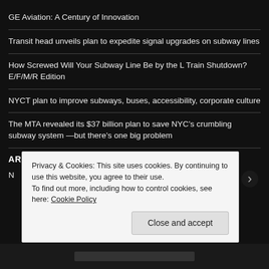GE Aviation: A Century of Innovation
Transit head unveils plan to expedite signal upgrades on subway lines
How Screwed Will Your Subway Line Be by the L Train Shutdown? E/F/M/R Edition
NYCT plan to improve subways, buses, accessibility, corporate culture
The MTA revealed its $37 billion plan to save NYC’s crumbling subway system —but there’s one big problem
ARCHIVES
Privacy & Cookies: This site uses cookies. By continuing to use this website, you agree to their use.
To find out more, including how to control cookies, see here: Cookie Policy
Close and accept